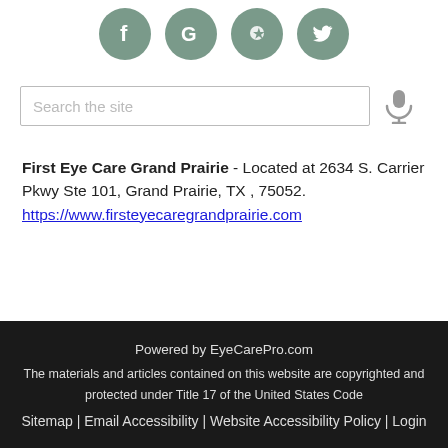[Figure (illustration): Four circular social media icons (Facebook, Google, Yelp, Twitter) with grey/teal background color arranged horizontally]
[Figure (illustration): Search input box with placeholder text 'Search the site' and a microphone icon to the right]
First Eye Care Grand Prairie - Located at 2634 S. Carrier Pkwy Ste 101, Grand Prairie, TX , 75052. https://www.firsteyecaregrandprairie.com
Powered by EyeCarePro.com
The materials and articles contained on this website are copyrighted and protected under Title 17 of the United States Code
Sitemap | Email Accessibility | Website Accessibility Policy | Login